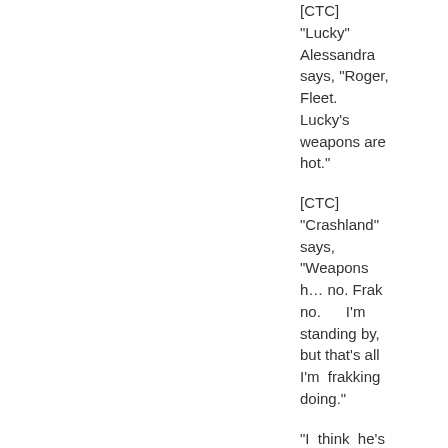[CTC] "Lucky" Alessandra says, "Roger, Fleet. Lucky's weapons are hot."
[CTC] "Crashland" says, "Weapons h… no. Frak no. I'm standing by, but that's all I'm frakking doing."
"I think he's okay…" Penny reports, checking vitals on the